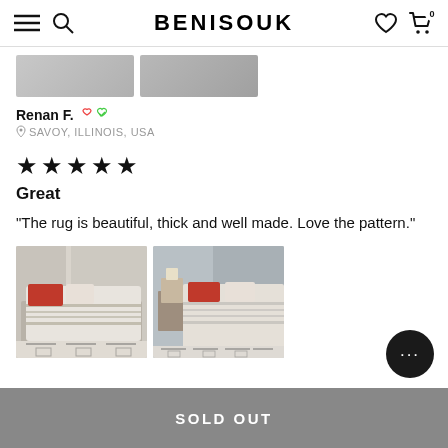BENISOUK
Renan F. — SAVOY, ILLINOIS, USA
★★★★★
Great
"The rug is beautiful, thick and well made. Love the pattern."
[Figure (photo): Two photos of a bedroom with a white rug featuring black geometric patterns, bed with red and white pillows]
SOLD OUT